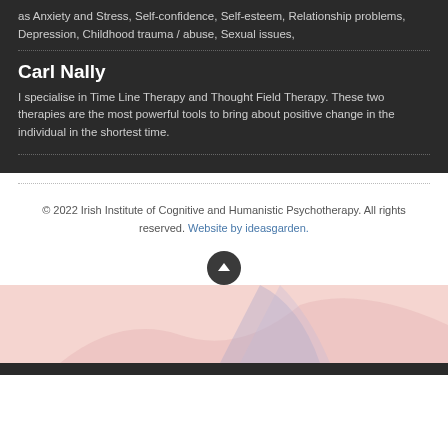as Anxiety and Stress, Self-confidence, Self-esteem, Relationship problems, Depression, Childhood trauma / abuse, Sexual issues,
Carl Nally
I specialise in Time Line Therapy and Thought Field Therapy. These two therapies are the most powerful tools to bring about positive change in the individual in the shortest time.
© 2022 Irish Institute of Cognitive and Humanistic Psychotherapy. All rights reserved. Website by ideasgarden.